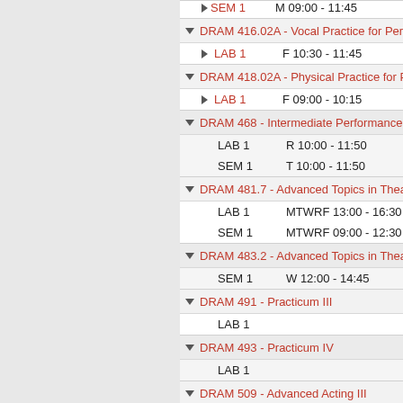SEM 1  M 09:00 - 11:45
DRAM 416.02A - Vocal Practice for Perfo...
LAB 1  F 10:30 - 11:45
DRAM 418.02A - Physical Practice for Pe...
LAB 1  F 09:00 - 10:15
DRAM 468 - Intermediate Performance C...
LAB 1  R 10:00 - 11:50
SEM 1  T 10:00 - 11:50
DRAM 481.7 - Advanced Topics in Theatr...
LAB 1  MTWRF 13:00 - 16:30
SEM 1  MTWRF 09:00 - 12:30
DRAM 483.2 - Advanced Topics in Theatr...
SEM 1  W 12:00 - 14:45
DRAM 491 - Practicum III
LAB 1
DRAM 493 - Practicum IV
LAB 1
DRAM 509 - Advanced Acting III
LAB 1  W 13:00 - 15:50
SEM 1  M 13:00 - 15:50
DRAM 511 - Directing II